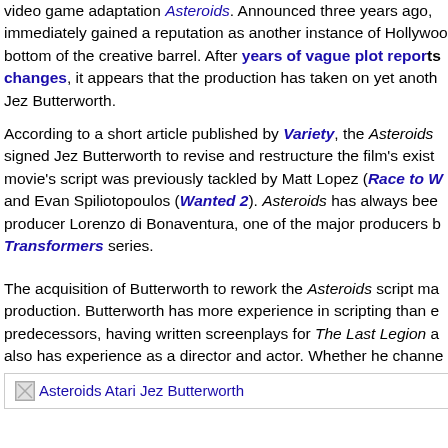video game adaptation Asteroids. Announced three years ago, immediately gained a reputation as another instance of Hollywood scraping the bottom of the creative barrel. After years of vague plot reports and creative changes, it appears that the production has taken on yet another form, courtesy of Jez Butterworth.
According to a short article published by Variety, the Asteroids movie has signed Jez Butterworth to revise and restructure the film's existing script. The movie's script was previously tackled by Matt Lopez (Race to Witch Mountain) and Evan Spiliotopoulos (Wanted 2). Asteroids has always been attached to producer Lorenzo di Bonaventura, one of the major producers behind the Transformers series.
The acquisition of Butterworth to rework the Asteroids script may help the production. Butterworth has more experience in scripting than either of his predecessors, having written screenplays for The Last Legion and more. He also has experience as a director and actor. Whether he channels that experience into a workable Asteroids script is, as ever, up in the air.
[Figure (photo): Broken image placeholder labeled 'Asteroids Atari Jez Butterworth']
'Asteroids' has seen numerous graphical updates over the years.
An undeniable limbo project, Asteroids has spent years as an "upcoming" film with no clear timetable for production. Producer Lorenzo di Bonaventura gave a brief description of an early plotline, saying that it involves, "...t